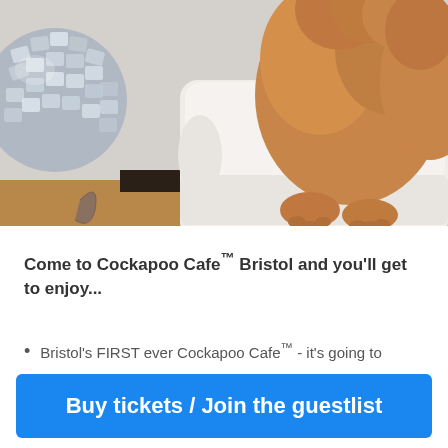[Figure (photo): A fluffy golden-brown cockapoo dog sitting on a white leather chair/sofa, with a reflective metallic spherical object on the left side and wooden flooring visible in the background.]
Come to Cockapoo Cafe™ Bristol and you'll get to enjoy...
Bristol's FIRST ever Cockapoo Cafe™ - it's going to
Buy tickets / Join the guestlist